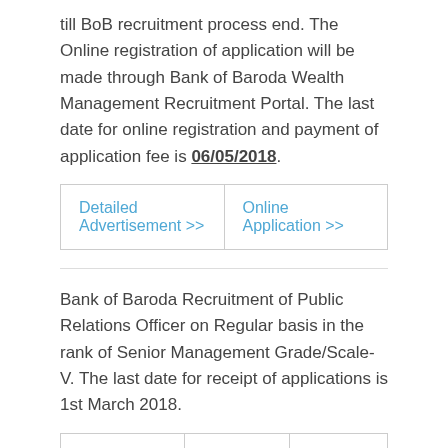till BoB recruitment process end. The Online registration of application will be made through Bank of Baroda Wealth Management Recruitment Portal. The last date for online registration and payment of application fee is 06/05/2018.
| Detailed Advertisement >> | Online Application >> |
| --- | --- |
Bank of Baroda Recruitment of Public Relations Officer on Regular basis in the rank of Senior Management Grade/Scale-V. The last date for receipt of applications is 1st March 2018.
| Name of Post | No of Vacancy | CTC |
| --- | --- | --- |